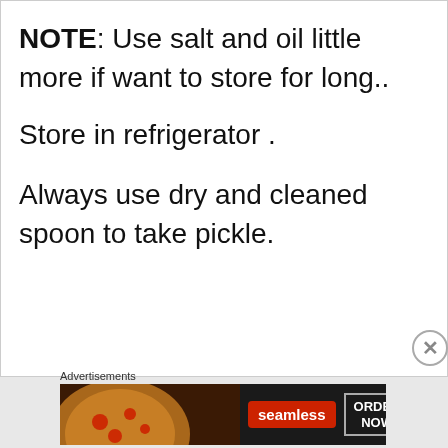NOTE: Use salt and oil little more if want to store for long.. Store in refrigerator . Always use dry and cleaned spoon to take pickle.
[Figure (screenshot): Advertisement banner for Seamless food ordering service showing pizza image, Seamless logo in red, and ORDER NOW button]
Advertisements